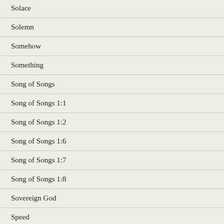Solace
Solemn
Somehow
Something
Song of Songs
Song of Songs 1:1
Song of Songs 1:2
Song of Songs 1:6
Song of Songs 1:7
Song of Songs 1:8
Sovereign God
Speed
Spiritual cabin fever